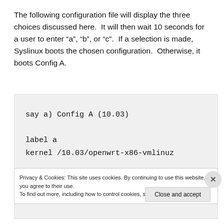The following configuration file will display the three choices discussed here.  It will then wait 10 seconds for a user to enter “a”, “b”, or “c”.  If a selection is made, Syslinux boots the chosen configuration.  Otherwise, it boots Config A.
[Figure (screenshot): Code block on gray background showing: 'say a) Config A (10.03)' and 'label a' and partially visible 'kernel /10.03/openwrt-x86-vmlinuz']
Privacy & Cookies: This site uses cookies. By continuing to use this website, you agree to their use.
To find out more, including how to control cookies, see here: Cookie Policy
Close and accept